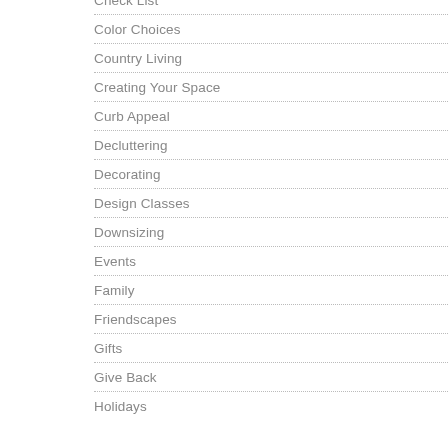Check List
Color Choices
Country Living
Creating Your Space
Curb Appeal
Decluttering
Decorating
Design Classes
Downsizing
Events
Family
Friendscapes
Gifts
Give Back
Holidays